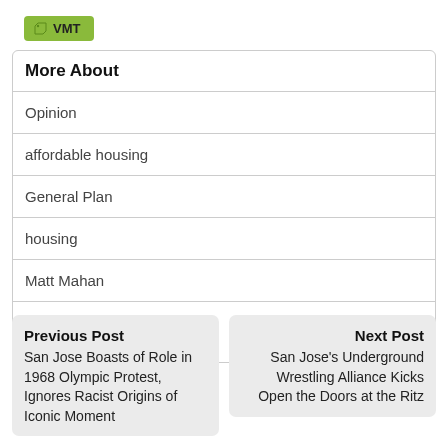VMT
More About
Opinion
affordable housing
General Plan
housing
Matt Mahan
Previous Post
San Jose Boasts of Role in 1968 Olympic Protest, Ignores Racist Origins of Iconic Moment
Next Post
San Jose's Underground Wrestling Alliance Kicks Open the Doors at the Ritz